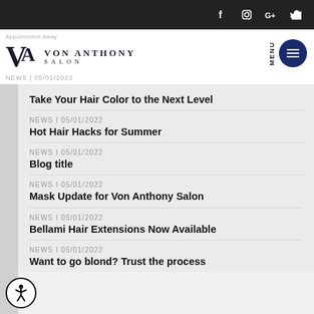Von Anthony Salon — social icons and navigation header
NEWS | 05/01/2022
Take Your Hair Color to the Next Level
NEWS | 05/01/2022
Hot Hair Hacks for Summer
NEWS | 05/01/2022
Blog title
NEWS | 05/01/2022
Mask Update for Von Anthony Salon
NEWS | 05/01/2022
Bellami Hair Extensions Now Available
NEWS | 05/01/2022
Want to go blond? Trust the process